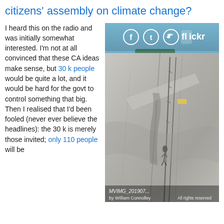citizens' assembly on climate change?
I heard this on the radio and was initially somewhat interested. I'm not at all convinced that these CA ideas make sense, but 30 k people would be quite a lot, and it would be hard for the govt to control something that big. Then I realised that I'd been fooled (never ever believe the headlines): the 30 k is merely those invited; only 110 people will be
[Figure (photo): Rock climbing photo showing a person on a steep granite rock face with a rope/ladder system. Social sharing icons (Facebook, Tumblr, Twitter, Flickr) overlay the top of the image. Caption reads: MVIMG_201907, by William Connolley, All rights reserved.]